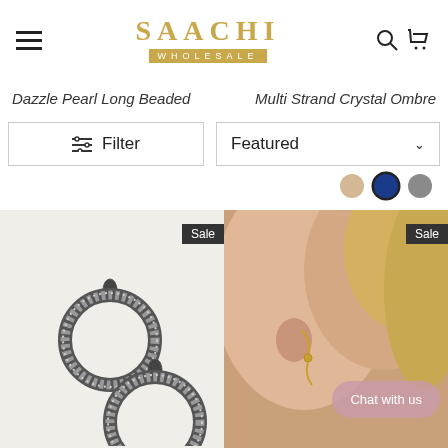SAACHI WHOLESALE
Dazzle Pearl Long Beaded   Multi Strand Crystal Ombre
Filter   Featured
[Figure (screenshot): E-commerce website showing Saachi Wholesale jewelry store with filter bar, color swatches (beige, navy, gray), two product images with Sale badges: left shows crystal hoop earrings on white background, right shows a model wearing gold earrings with Chat with us button]
Chat with us